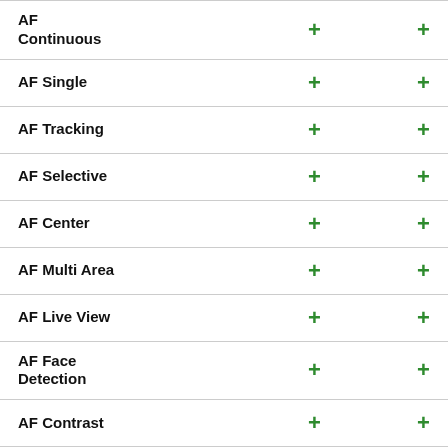| Feature | Col1 | Col2 |
| --- | --- | --- |
| AF Continuous | + | + |
| AF Single | + | + |
| AF Tracking | + | + |
| AF Selective | + | + |
| AF Center | + | + |
| AF Multi Area | + | + |
| AF Live View | + | + |
| AF Face Detection | + | + |
| AF Contrast | + | + |